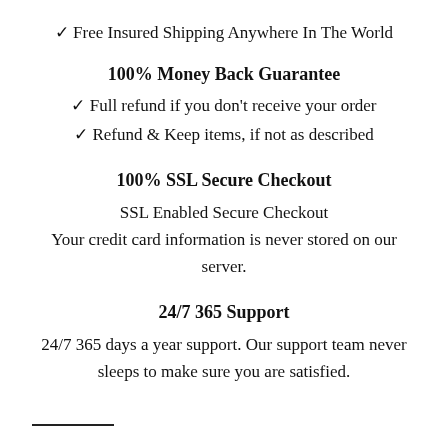✓ Free Insured Shipping Anywhere In The World
100% Money Back Guarantee
✓ Full refund if you don't receive your order
✓ Refund & Keep items, if not as described
100% SSL Secure Checkout
SSL Enabled Secure Checkout
Your credit card information is never stored on our server.
24/7 365 Support
24/7 365 days a year support. Our support team never sleeps to make sure you are satisfied.